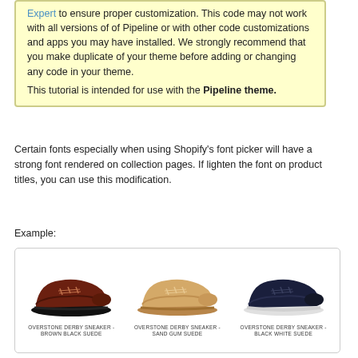Expert to ensure proper customization. This code may not work with all versions of of Pipeline or with other code customizations and apps you may have installed. We strongly recommend that you make duplicate of your theme before adding or changing any code in your theme.
This tutorial is intended for use with the Pipeline theme.
Certain fonts especially when using Shopify's font picker will have a strong font rendered on collection pages. If lighten the font on product titles, you can use this modification.
Example:
[Figure (screenshot): Product grid showing three shoe products: OVERSTONE DERBY SNEAKER - BROWN BLACK SUEDE, OVERSTONE DERBY SNEAKER - SAND GUM SUEDE, OVERSTONE DERBY SNEAKER - BLACK WHITE SUEDE]